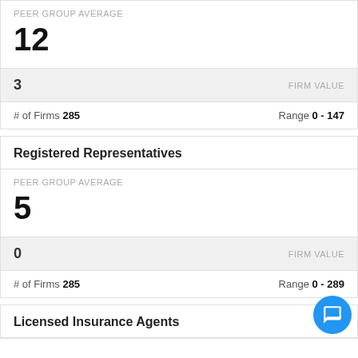PEER GROUP AVERAGE
12
3   FIRM VALUE
# of Firms 285   Range 0 - 147
Registered Representatives
PEER GROUP AVERAGE
5
0   FIRM VALUE
# of Firms 285   Range 0 - 289
Licensed Insurance Agents